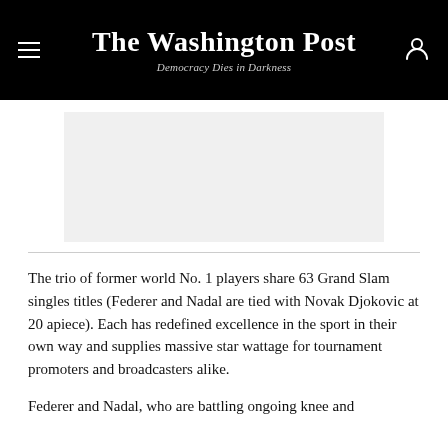The Washington Post — Democracy Dies in Darkness
[Figure (other): Advertisement placeholder — light gray rectangle]
The trio of former world No. 1 players share 63 Grand Slam singles titles (Federer and Nadal are tied with Novak Djokovic at 20 apiece). Each has redefined excellence in the sport in their own way and supplies massive star wattage for tournament promoters and broadcasters alike.
Federer and Nadal, who are battling ongoing knee and